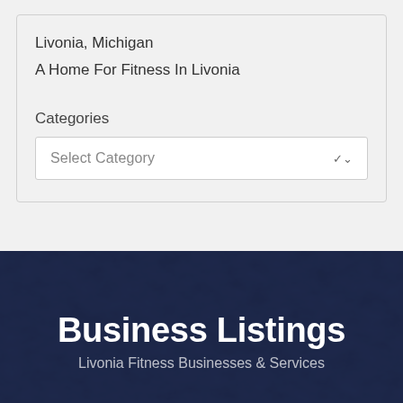Livonia, Michigan
A Home For Fitness In Livonia
Categories
Select Category
Business Listings
Livonia Fitness Businesses &amp; Services